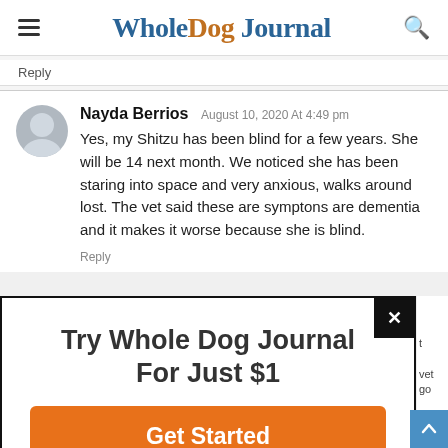WholeDog Journal
Reply
Nayda Berrios August 10, 2020 At 4:49 pm
Yes, my Shitzu has been blind for a few years. She will be 14 next month. We noticed she has been staring into space and very anxious, walks around lost. The vet said these are symptons are dementia and it makes it worse because she is blind.
Reply
Try Whole Dog Journal For Just $1
Get Started